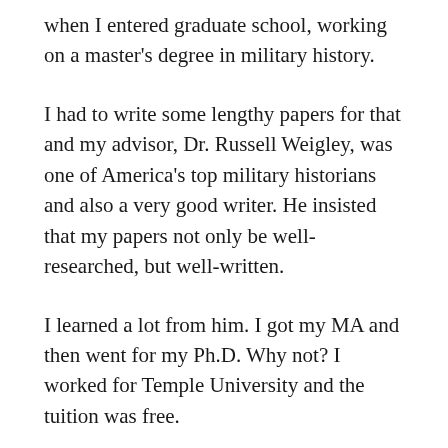when I entered graduate school, working on a master's degree in military history.
I had to write some lengthy papers for that and my advisor, Dr. Russell Weigley, was one of America's top military historians and also a very good writer. He insisted that my papers not only be well-researched, but well-written.
I learned a lot from him. I got my MA and then went for my Ph.D. Why not? I worked for Temple University and the tuition was free.
But then something totally unexpected happened.